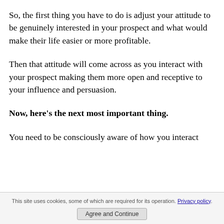So, the first thing you have to do is adjust your attitude to be genuinely interested in your prospect and what would make their life easier or more profitable.
Then that attitude will come across as you interact with your prospect making them more open and receptive to your influence and persuasion.
Now, here's the next most important thing.
You need to be consciously aware of how you interact
This site uses cookies, some of which are required for its operation. Privacy policy. Agree and Continue